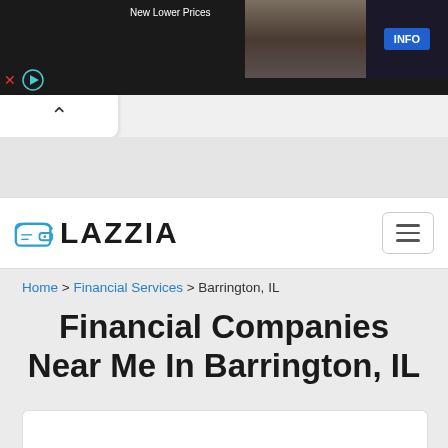[Figure (screenshot): Advertisement banner showing 'New Lower Prices' text, a couple in formal wear, a person in dark clothing, and an info button on dark background]
[Figure (logo): Lazzia logo with wallet icon and LAZZIA text in bold black]
Home > Financial Services > Barrington, IL
Financial Companies Near Me In Barrington, IL